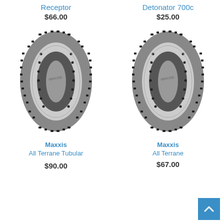Receptor
$66.00
Detonator 700c
$25.00
[Figure (photo): Maxxis All Terrane Tubular bicycle tire, side view showing knobby tread pattern]
Maxxis
All Terrane Tubular
$90.00
[Figure (photo): Maxxis All Terrane bicycle tire, side view showing knobby tread pattern]
Maxxis
All Terrane
$67.00